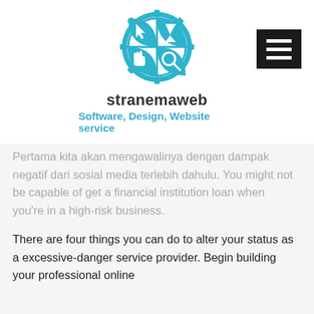[Figure (logo): Stranemaweb logo: a circular gear/puzzle icon divided into four quadrants with a cursor, hourglass, hand pointer, and magnifying glass, in teal/blue color]
stranemaweb
Software, Design, Website service
[Figure (other): Hamburger menu button (three horizontal white lines on black background)]
Pertama kita akan mengawalinya dengan dampak negatif dari sosial media terlebih dahulu. You might not be capable of get a financial institution loan when you're in a high-risk business.
There are four things you can do to alter your status as a excessive-danger service provider. Begin building your professional online